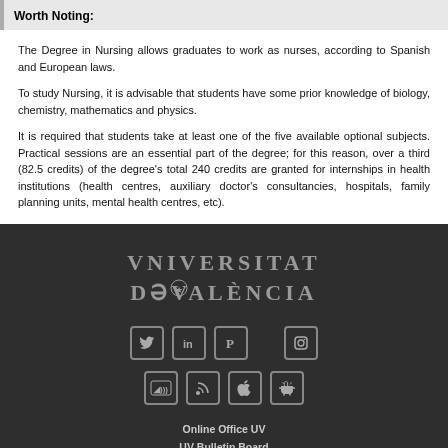Worth Noting:
The Degree in Nursing allows graduates to work as nurses, according to Spanish and European laws.
To study Nursing, it is advisable that students have some prior knowledge of biology, chemistry, mathematics and physics.
It is required that students take at least one of the five available optional subjects. Practical sessions are an essential part of the degree; for this reason, over a third (82.5 credits) of the degree's total 240 credits are granted for internships in health institutions (health centres, auxiliary doctor's consultancies, hospitals, family planning units, mental health centres, etc).
[Figure (logo): Universitat de València logo in stylized serif text with decorative V and emblem between D and V]
[Figure (infographic): Row of social media icons: Twitter, LinkedIn, Pinterest, Instagram, accessibility, RSS, Apple, Android]
Online Office UV
UV Bulletin Board